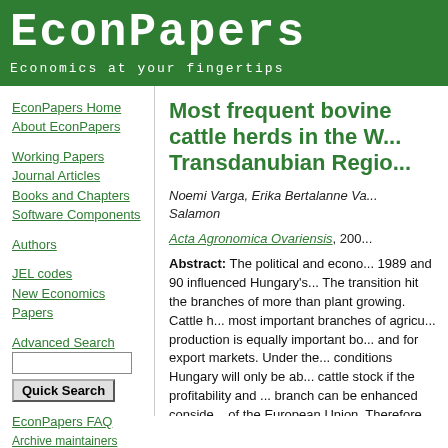EconPapers
Economics at your fingertips
EconPapers Home
About EconPapers
Working Papers
Journal Articles
Books and Chapters
Software Components
Authors
JEL codes
New Economics Papers
Advanced Search
EconPapers FAQ
Archive maintainers FAQ
Cookies at EconPapers
Format for printing
Most frequent bovine cattle herds in the W... Transdanubian Regio...
Noemi Varga, Erika Bertalanne Va... Salamon
Acta Agronomica Ovariensis, 200...
Abstract: The political and econo... 1989 and 90 influenced Hungary's... The transition hit the branches of ... more than plant growing. Cattle h... most important branches of agricu... production is equally important bo... and for export markets. Under the... conditions Hungary will only be ab... cattle stock if the profitability and ... branch can be enhanced conside... of the European Union. Therefore... economic losses should be revea... to be found in order to eliminat...